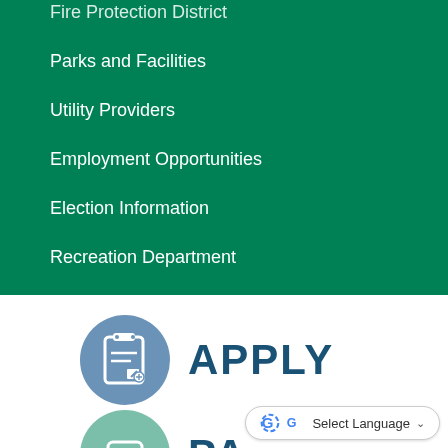Fire Protection District
Parks and Facilities
Utility Providers
Employment Opportunities
Election Information
Recreation Department
[Figure (infographic): Blue circle icon with clipboard and pencil, next to bold dark blue text reading APPLY]
[Figure (infographic): Green circle icon (partially visible at bottom), beginning of PAY section]
Select Language